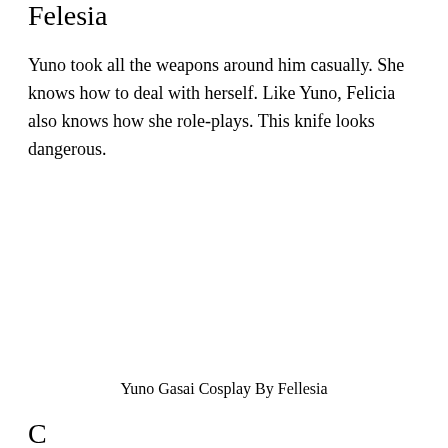Felesia
Yuno took all the weapons around him casually. She knows how to deal with herself. Like Yuno, Felicia also knows how she role-plays. This knife looks dangerous.
Yuno Gasai Cosplay By Fellesia
C...